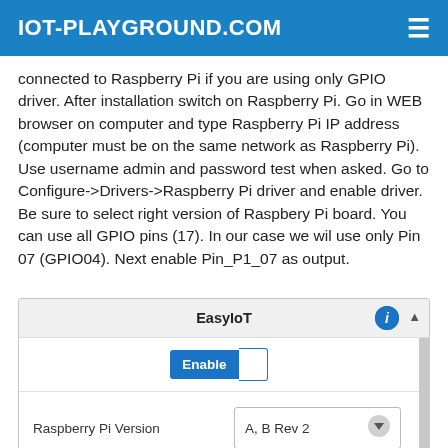IOT-PLAYGROUND.COM
connected to Raspberry Pi if you are using only GPIO driver. After installation switch on Raspberry Pi. Go in WEB browser on computer and type Raspberry Pi IP address (computer must be on the same network as Raspberry Pi). Use username admin and password test when asked. Go to Configure->Drivers->Raspberry Pi driver and enable driver. Be sure to select right version of Raspbery Pi board. You can use all GPIO pins (17). In our case we wil use only Pin 07 (GPIO04). Next enable Pin_P1_07 as output.
[Figure (screenshot): EasyIoT web interface screenshot showing Enable button toggle, Raspberry Pi Version dropdown set to A, B Rev 2, and Debug label]